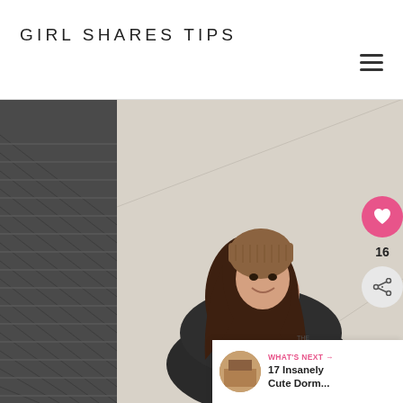GIRL SHARES TIPS
[Figure (photo): Young woman wearing a brown beanie hat and dark puffer jacket, sitting on escalator steps, smiling and looking upward. Background shows escalator steps and beige/grey wall panels.]
16
WHAT'S NEXT → 17 Insanely Cute Dorm...